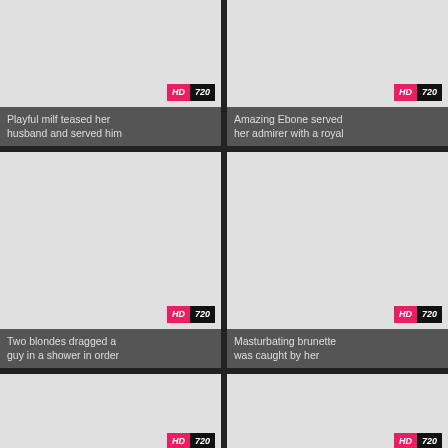[Figure (screenshot): Video thumbnail placeholder top-left with HD/720 badge]
Playful milf teased her husband and served him
[Figure (screenshot): Video thumbnail placeholder top-right with HD/720 badge]
Amazing Ebone served her admirer with a royal
[Figure (screenshot): Video thumbnail placeholder middle-left with HD/720 badge]
Two blondes dragged a guy in a shower in order
[Figure (screenshot): Video thumbnail placeholder middle-right with HD/720 badge]
Masturbating brunette was caught by her
[Figure (screenshot): Video thumbnail placeholder bottom-left with HD/720 badge (partial)]
[Figure (screenshot): Video thumbnail placeholder bottom-right with HD/720 badge (partial)]